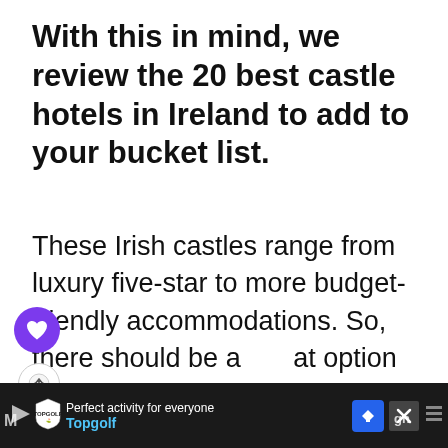With this in mind, we review the 20 best castle hotels in Ireland to add to your bucket list.
These Irish castles range from luxury five-star to more budget-friendly accommodations. So, there should be a great option on this list for just about everyone. Keep reading to discover famous castle hotels in Ireland, like [castle link] and Dromoland Castle. We also divulge hidden gems, such as
[Figure (screenshot): Webpage screenshot showing article text with floating UI elements: heart/save button (purple circle), share button (grey circle with share icon), a 'WHAT'S NEXT' widget showing '17 Famous Fairytale...' with thumbnail, and an advertisement bar at the bottom for Topgolf.]